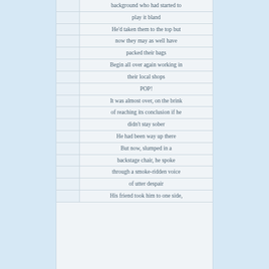background who had started to
play it bland
He'd taken them to the top but
now they may as well have
packed their bags
Begin all over again working in
their local shops
POP!
It was almost over, on the brink
of reaching its conclusion if he
didn't stay sober
He had been way up there
But now, slumped in a
backstage chair, he spoke
through a smoke-ridden voice
of utter despair
His friend took him to one side,